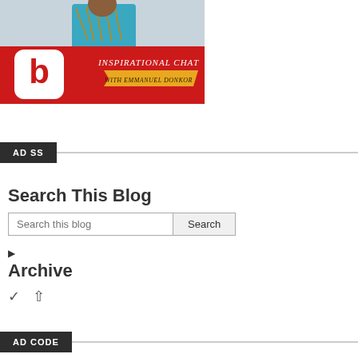[Figure (illustration): Podcast thumbnail: man wearing blue/orange African print shirt, red background with white Boomplay logo icon, text 'Inspirational Chat' and 'with Emmanuel Donkor' on a gold banner]
ADSS
Search This Blog
Search this blog [input] Search [button]
Archive
▼ ∧ (expand/collapse controls)
AD CODE